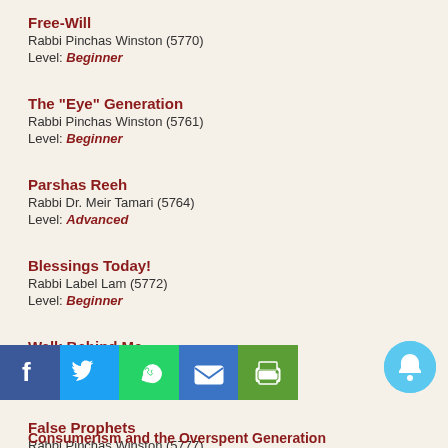Free-Will
Rabbi Pinchas Winston (5770)
Level: Beginner
The "Eye" Generation
Rabbi Pinchas Winston (5761)
Level: Beginner
Parshas Reeh
Rabbi Dr. Meir Tamari (5764)
Level: Advanced
Blessings Today!
Rabbi Label Lam (5772)
Level: Beginner
Walk Behind Me
Rabbi Naftali Reich (5778)
Level: Beginner
False Prophets
Rabbi Pinchas Winston (5777)
Level: Intermediate
Consumerism and the Overspent Generation